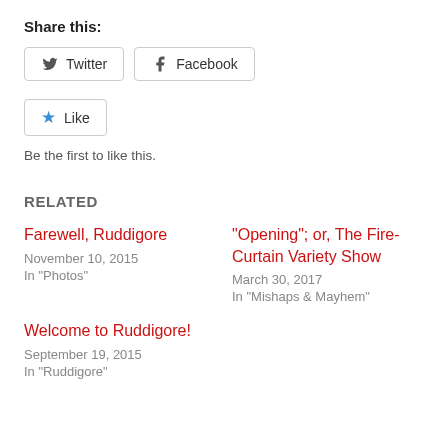Share this:
[Figure (other): Twitter and Facebook share buttons]
[Figure (other): Like button with star icon]
Be the first to like this.
RELATED
Farewell, Ruddigore
November 10, 2015
In "Photos"
“Opening”; or, The Fire-Curtain Variety Show
March 30, 2017
In "Mishaps & Mayhem"
Welcome to Ruddigore!
September 19, 2015
In "Ruddigore"